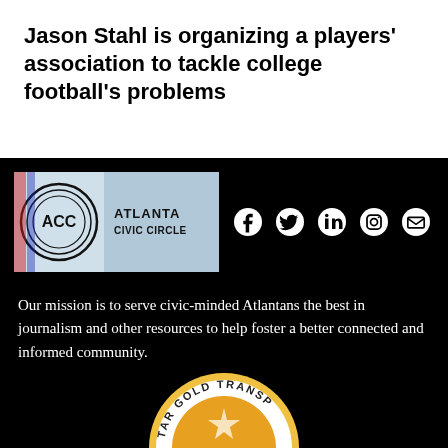Jason Stahl is organizing a players’ association to tackle college football’s problems
[Figure (logo): Atlanta Civic Circle logo with ACC circle emblem and text]
[Figure (infographic): Social media icons: Facebook, Twitter, LinkedIn, Instagram, Email]
Our mission is to serve civic-minded Atlantans the best in journalism and other resources to help foster a better connected and informed community.
[Figure (logo): Partial circular badge reading GOLD TRANSP with gold and white colors]